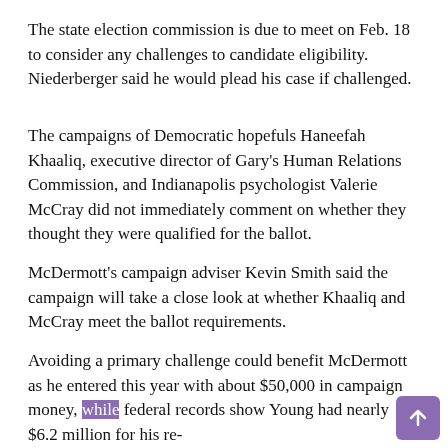The state election commission is due to meet on Feb. 18 to consider any challenges to candidate eligibility. Niederberger said he would plead his case if challenged.
The campaigns of Democratic hopefuls Haneefah Khaaliq, executive director of Gary's Human Relations Commission, and Indianapolis psychologist Valerie McCray did not immediately comment on whether they thought they were qualified for the ballot.
McDermott's campaign adviser Kevin Smith said the campaign will take a close look at whether Khaaliq and McCray meet the ballot requirements.
Avoiding a primary challenge could benefit McDermott as he entered this year with about $50,000 in campaign money, while federal records show Young had nearly $6.2 million for his re-